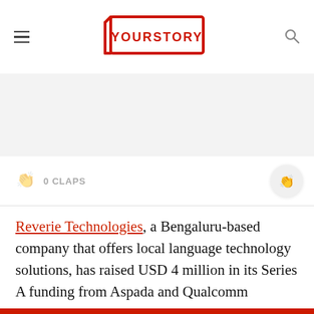YOURSTORY
[Figure (other): Gray banner / advertisement placeholder area]
0 CLAPS
Reverie Technologies, a Bengaluru-based company that offers local language technology solutions, has raised USD 4 million in its Series A funding from Aspada and Qualcomm Ventures.